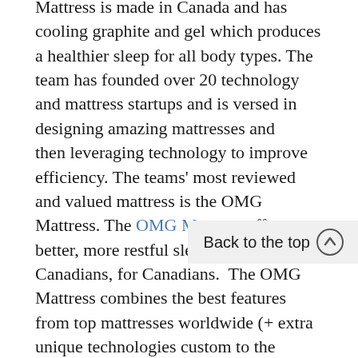Mattress is made in Canada and has cooling graphite and gel which produces a healthier sleep for all body types. The team has founded over 20 technology and mattress startups and is versed in designing amazing mattresses and then leveraging technology to improve efficiency. The teams' most reviewed and valued mattress is the OMG Mattress. The OMG Mattress offers a better, more restful sleep. Made by Canadians, for Canadians. The OMG Mattress combines the best features from top mattresses worldwide (+ extra unique technologies custom to the mattress company), to ensure you have a perfect night rest. and to ensure your body is in pe[rfect condition] for the next day's work.

The OMG contains CertiPUR-US Certified Foams for safe and sound sleep. It's versatile for any space and anyone. The OMG reinvents bedtime and